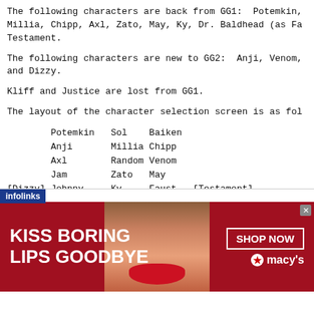The following characters are back from GG1:  Potemkin, Millia, Chipp, Axl, Zato, May, Ky, Dr. Baldhead (as Fa Testament.
The following characters are new to GG2:  Anji, Venom, and Dizzy.
Kliff and Justice are lost from GG1.
The layout of the character selection screen is as fol
Potemkin   Sol    Baiken
        Anji       Millia Chipp
        Axl        Random Venom
        Jam        Zato   May
[Dizzy] Johnny     Ky     Faust   [Testament]
4 ************************** CHARACTERS **************
[Figure (other): Macy's advertisement banner: 'KISS BORING LIPS GOODBYE' with a woman's face and lips, SHOP NOW button and Macy's star logo. Infolinks label at top left.]